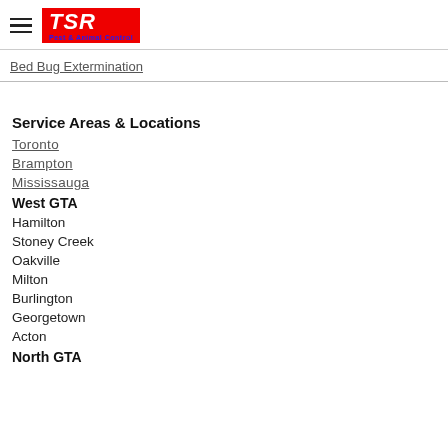[Figure (logo): TSR Pest & Animal Control logo with hamburger menu icon]
Bed Bug Extermination
Service Areas & Locations
Toronto
Brampton
Mississauga
West GTA
Hamilton
Stoney Creek
Oakville
Milton
Burlington
Georgetown
Acton
North GTA